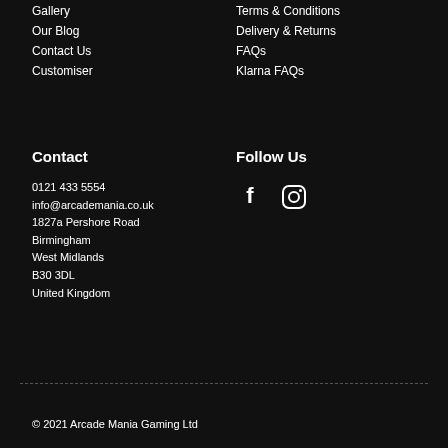Gallery
Our Blog
Contact Us
Customiser
Terms & Conditions
Delivery & Returns
FAQs
Klarna FAQs
Contact
0121 433 5554
info@arcademania.co.uk
1827a Pershore Road
Birmingham
West Midlands
B30 3DL
United Kingdom
Follow Us
[Figure (illustration): Facebook and Instagram social media icons in white on black background]
© 2021 Arcade Mania Gaming Ltd